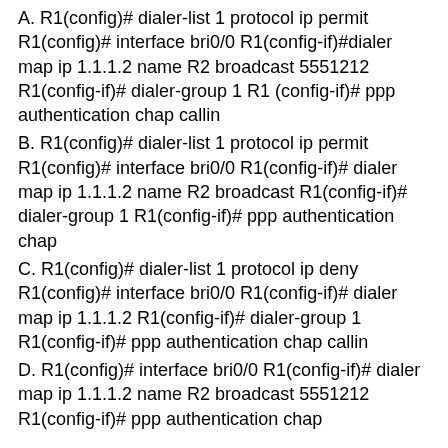A. R1(config)# dialer-list 1 protocol ip permit R1(config)# interface bri0/0 R1(config-if)#dialer map ip 1.1.1.2 name R2 broadcast 5551212 R1(config-if)# dialer-group 1 R1 (config-if)# ppp authentication chap callin
B. R1(config)# dialer-list 1 protocol ip permit R1(config)# interface bri0/0 R1(config-if)# dialer map ip 1.1.1.2 name R2 broadcast R1(config-if)# dialer-group 1 R1(config-if)# ppp authentication chap
C. R1(config)# dialer-list 1 protocol ip deny R1(config)# interface bri0/0 R1(config-if)# dialer map ip 1.1.1.2 R1(config-if)# dialer-group 1 R1(config-if)# ppp authentication chap callin
D. R1(config)# interface bri0/0 R1(config-if)# dialer map ip 1.1.1.2 name R2 broadcast 5551212 R1(config-if)# ppp authentication chap
Correct Answer: B Section: (none) Explanation Explanation/Reference: